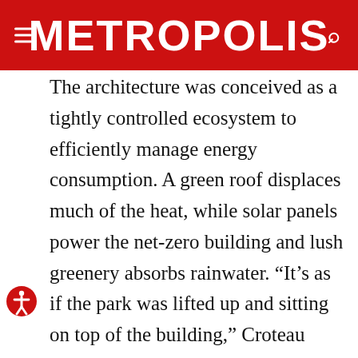METROPOLIS
The architecture was conceived as a tightly controlled ecosystem to efficiently manage energy consumption. A green roof displaces much of the heat, while solar panels power the net-zero building and lush greenery absorbs rainwater. “It’s as if the park was lifted up and sitting on top of the building,” Croteau continues. Beyond designing the school to be mostly daylit, the architects built wood panels above courtyard doors for natural ventilation–ensuring the park’s presence is felt whether in a classroom or